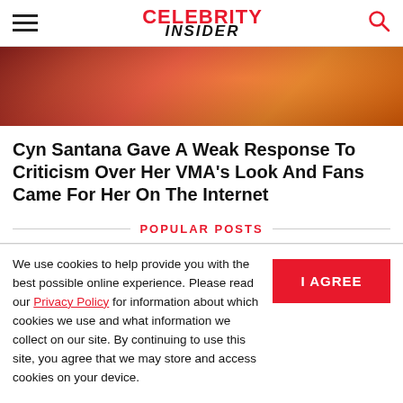CELEBRITY INSIDER
[Figure (photo): Partial view of a woman's face and upper body, wearing red clothing and jewelry, on an orange-red background]
Cyn Santana Gave A Weak Response To Criticism Over Her VMA's Look And Fans Came For Her On The Internet
POPULAR POSTS
We use cookies to help provide you with the best possible online experience. Please read our Privacy Policy for information about which cookies we use and what information we collect on our site. By continuing to use this site, you agree that we may store and access cookies on your device.